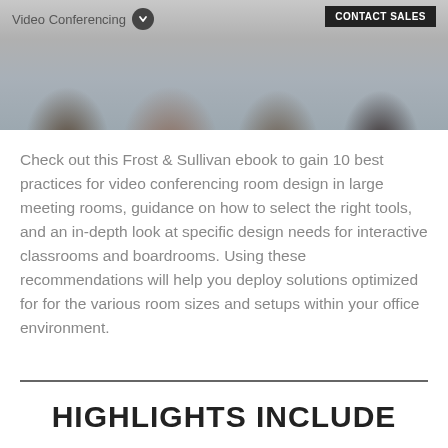[Figure (photo): Header photo showing people sitting around a conference room table for a video conferencing meeting, with navigation bar overlay showing 'Video Conferencing' dropdown and 'CONTACT SALES' button]
Check out this Frost & Sullivan ebook to gain 10 best practices for video conferencing room design in large meeting rooms, guidance on how to select the right tools, and an in-depth look at specific design needs for interactive classrooms and boardrooms. Using these recommendations will help you deploy solutions optimized for for the various room sizes and setups within your office environment.
HIGHLIGHTS INCLUDE